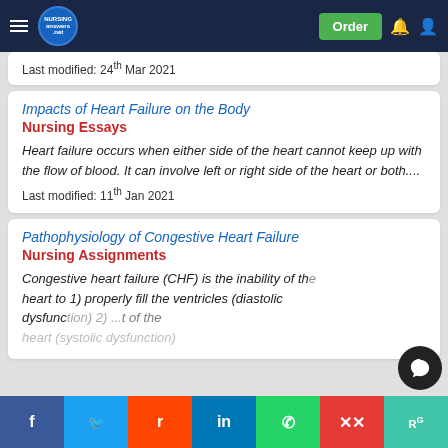NursingAnswers.net — Navigation bar with Order button
Last modified: 24th Mar 2021
Impacts of Heart Failure on the Body
Nursing Essays
Heart failure occurs when either side of the heart cannot keep up with the flow of blood. It can involve left or right side of the heart or both....
Last modified: 11th Jan 2021
Pathophysiology of Congestive Heart Failure
Nursing Assignments
Congestive heart failure (CHF) is the inability of the heart to 1) properly fill the ventricles (diastolic dysfunction) 2) ... t of the heart (systolic dysfunction)